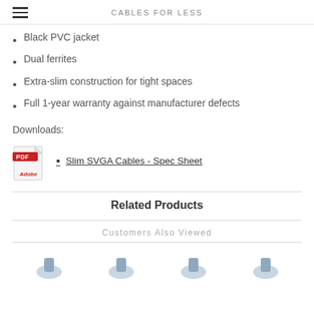CABLES FOR LESS
Black PVC jacket
Dual ferrites
Extra-slim construction for tight spaces
Full 1-year warranty against manufacturer defects
Downloads:
[Figure (other): Adobe PDF icon with link to Slim SVGA Cables - Spec Sheet]
Related Products
Customers Also Viewed
[Figure (photo): Four partial cable product thumbnail images at bottom of page]